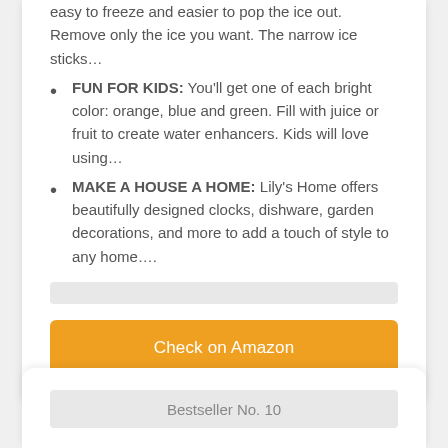easy to freeze and easier to pop the ice out. Remove only the ice you want. The narrow ice sticks…
FUN FOR KIDS: You'll get one of each bright color: orange, blue and green. Fill with juice or fruit to create water enhancers. Kids will love using…
MAKE A HOUSE A HOME: Lily's Home offers beautifully designed clocks, dishware, garden decorations, and more to add a touch of style to any home….
Check on Amazon
Bestseller No. 10